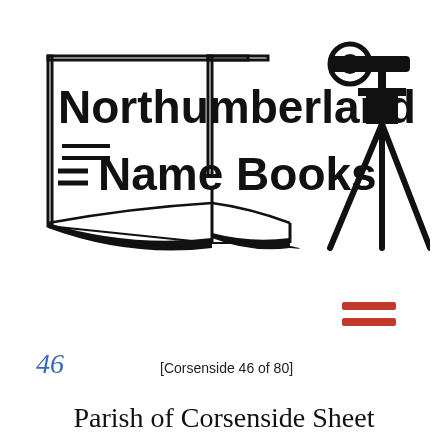[Figure (logo): Northumberland Name Books logo: open book with text 'Northumberland Name Books' and a surveying theodolite/tripod instrument on the right, plus red hamburger menu icon]
46
[Corsenside 46 of 80]
Parish of Corsenside Sheet